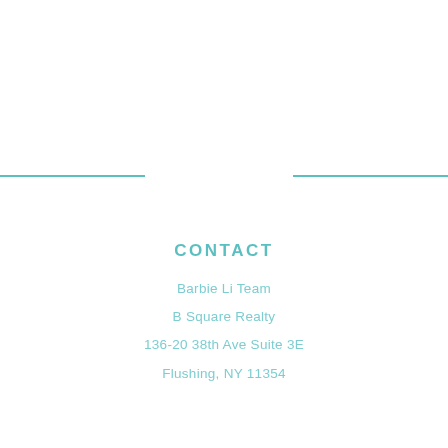CONTACT
Barbie Li Team
B Square Realty
136-20 38th Ave Suite 3E
Flushing, NY 11354